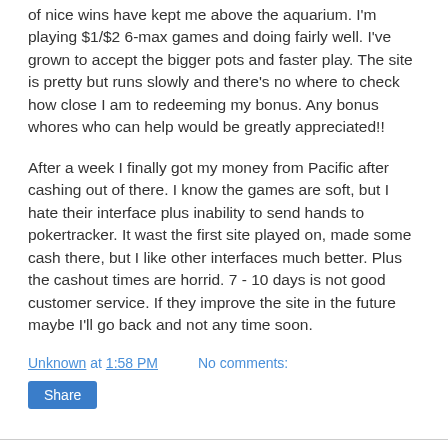of nice wins have kept me above the aquarium. I'm playing $1/$2 6-max games and doing fairly well. I've grown to accept the bigger pots and faster play. The site is pretty but runs slowly and there's no where to check how close I am to redeeming my bonus. Any bonus whores who can help would be greatly appreciated!!
After a week I finally got my money from Pacific after cashing out of there. I know the games are soft, but I hate their interface plus inability to send hands to pokertracker. It wast the first site played on, made some cash there, but I like other interfaces much better. Plus the cashout times are horrid. 7 - 10 days is not good customer service. If they improve the site in the future maybe I'll go back and not any time soon.
Unknown at 1:58 PM    No comments:
Share
Tuesday, November 23, 2004
Zzzzzzzzzzzzzzz